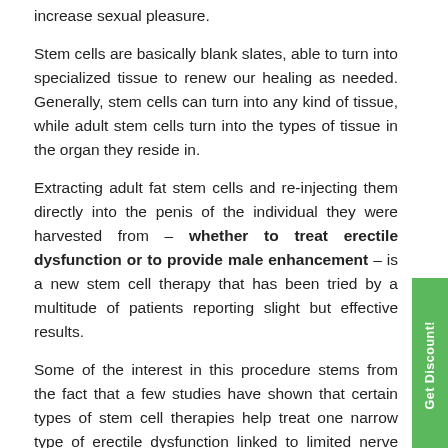increase sexual pleasure.
Stem cells are basically blank slates, able to turn into specialized tissue to renew our healing as needed. Generally, stem cells can turn into any kind of tissue, while adult stem cells turn into the types of tissue in the organ they reside in.
Extracting adult fat stem cells and re-injecting them directly into the penis of the individual they were harvested from — whether to treat erectile dysfunction or to provide male enhancement — is a new stem cell therapy that has been tried by a multitude of patients reporting slight but effective results.
Some of the interest in this procedure stems from the fact that a few studies have shown that certain types of stem cell therapies help treat one narrow type of erectile dysfunction linked to limited nerve damage after a prostatectomy.
Patients also assume that stem cell therapies aren't risky, because they just involve shooting up something from your